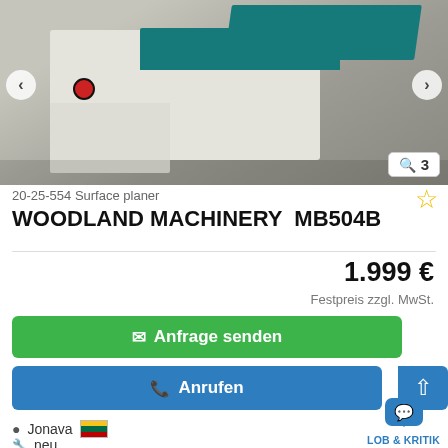[Figure (photo): Industrial surface planer machine (WOODLAND MACHINERY MB504B) shown from a slightly elevated angle, white and teal/green colored body with red emergency stop button, on concrete floor. Navigation arrows on left and right sides. Zoom badge showing '3' in bottom right corner.]
20-25-554 Surface planer
WOODLAND MACHINERY  MB504B
1.999 €
Festpreis zzgl. MwSt.
✉ Anfrage senden
📞 Anrufen
Jonava
neu
LOB & KRITIK